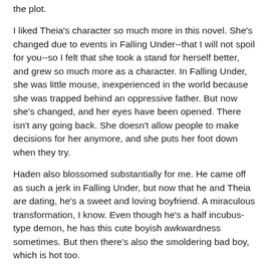the plot.
I liked Theia's character so much more in this novel. She's changed due to events in Falling Under--that I will not spoil for you--so I felt that she took a stand for herself better, and grew so much more as a character. In Falling Under, she was little mouse, inexperienced in the world because she was trapped behind an oppressive father. But now she's changed, and her eyes have been opened. There isn't any going back. She doesn't allow people to make decisions for her anymore, and she puts her foot down when they try.
Haden also blossomed substantially for me. He came off as such a jerk in Falling Under, but now that he and Theia are dating, he's a sweet and loving boyfriend. A miraculous transformation, I know. Even though he's a half incubus-type demon, he has this cute boyish awkwardness sometimes. But then there's also the smoldering bad boy, which is hot too.
We lose a beloved character! Just going to say that. It was definitely a blow.